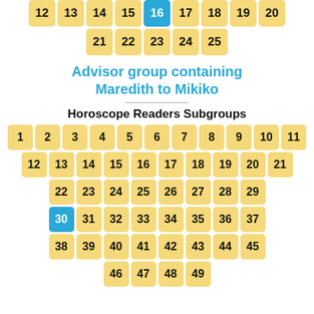[Figure (infographic): Top partial grid of numbered yellow cells, cell 16 highlighted in blue. Row 1: 12-20, Row 2: 21-25]
Advisor group containing Maredith to Mikiko
Horoscope Readers Subgroups
[Figure (infographic): Grid of numbered yellow cells 1-49 in rows, cell 30 highlighted in blue]